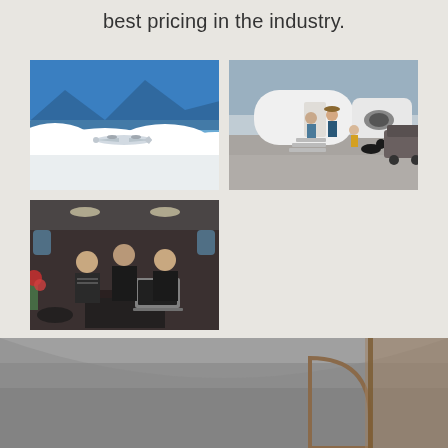best pricing in the industry.
[Figure (photo): Private jet flying above clouds with blue sky and mountains in background]
[Figure (photo): Family with dog boarding a private jet on tarmac with SUV in background]
[Figure (photo): Three people (two women and one man) posing inside a private jet cabin with laptop]
[Figure (photo): Interior of a private jet cabin showing curved ceiling and wood paneling]